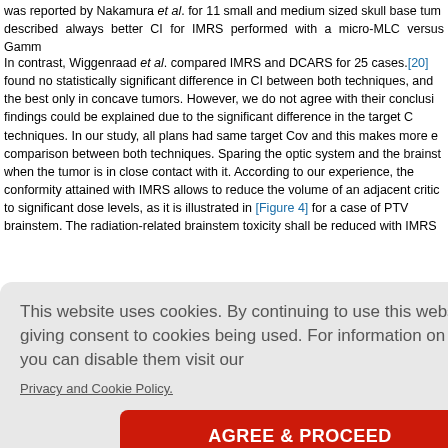was reported by Nakamura et al. for 11 small and medium sized skull base tumors described always better CI for IMRS performed with a micro-MLC versus Gamma...
In contrast, Wiggenraad et al. compared IMRS and DCARS for 25 cases.[20] found no statistically significant difference in CI between both techniques, and the best only in concave tumors. However, we do not agree with their conclusions. findings could be explained due to the significant difference in the target C techniques. In our study, all plans had same target Cov and this makes more e comparison between both techniques. Sparing the optic system and the brainstem when the tumor is in close contact with it. According to our experience, the conformity attained with IMRS allows to reduce the volume of an adjacent critical to significant dose levels, as it is illustrated in [Figure 4] for a case of PTV brainstem. The radiation-related brainstem toxicity shall be reduced with IMRS...
case enro e was near gery: (b) dy e volume sity modula onformal a % (blue) is e 4] is sh here the prainstem.
[Figure (continuous-plot): Partial view of a line graph showing curves, likely dose-volume histogram related to brainstem or PTV, with green curves visible]
illustrating how the intensity modulated r is able to diminish the volume of brai...